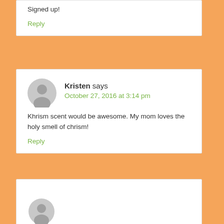Signed up!
Reply
Kristen says
October 27, 2016 at 3:14 pm
Khrism scent would be awesome. My mom loves the holy smell of chrism!
Reply